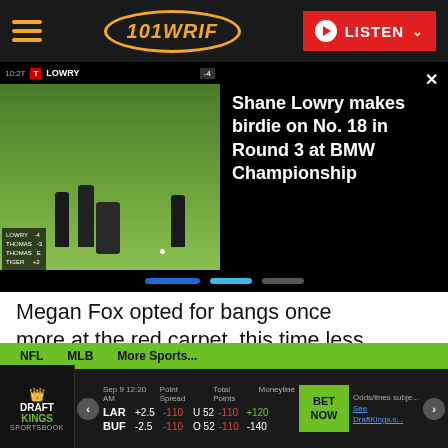101 WRIF — LISTEN
[Figure (screenshot): Video thumbnail of golf players on a green course with score overlay, next to a video title panel]
Shane Lowry makes birdie on No. 18 in Round 3 at BMW Championship
Megan Fox opted for bangs once more at the red carpet, this time less heavy fringe and it looks so much better. Her plunging neckline and smokey eye makeup make her look like a vixen!
|  | Point Spread | Total Points | Moneyline |
| --- | --- | --- | --- |
| LAR | +2.5 -110 | U 52 -110 | +120 |
| BUF | -2.5 -110 | O 52 -110 | -140 |
Odds/lines subject to change. See DraftKings.com